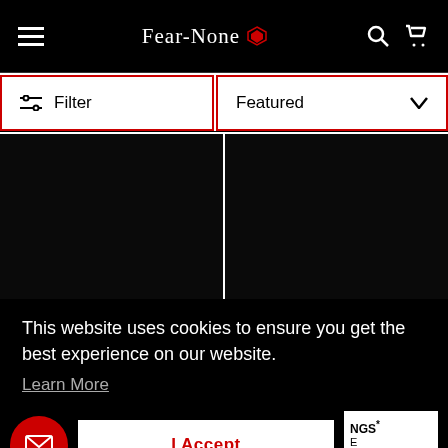Fear-None [logo with diamond icon] — navigation header with hamburger menu, search, and cart icons
Filter
Featured
[Figure (screenshot): Two black product image cells side by side, separated by a white vertical divider]
This website uses cookies to ensure you get the best experience on our website.
Learn More
I Accept
[Figure (illustration): Red circular email/envelope icon button]
NGS*
E
from $55.00
1 review